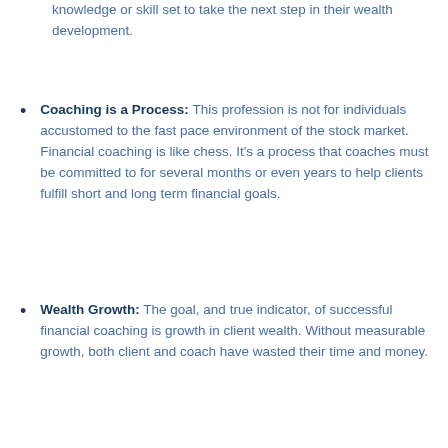knowledge or skill set to take the next step in their wealth development.
Coaching is a Process: This profession is not for individuals accustomed to the fast pace environment of the stock market. Financial coaching is like chess. It's a process that coaches must be committed to for several months or even years to help clients fulfill short and long term financial goals.
Wealth Growth: The goal, and true indicator, of successful financial coaching is growth in client wealth. Without measurable growth, both client and coach have wasted their time and money.